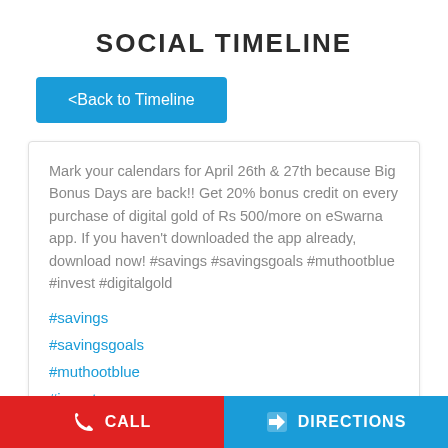SOCIAL TIMELINE
<Back to Timeline
Mark your calendars for April 26th & 27th because Big Bonus Days are back!! Get 20% bonus credit on every purchase of digital gold of Rs 500/more on eSwarna app. If you haven't downloaded the app already, download now! #savings #savingsgoals #muthootblue #invest #digitalgold
#savings
#savingsgoals
#muthootblue
#invest
#digitalgold
CALL   DIRECTIONS